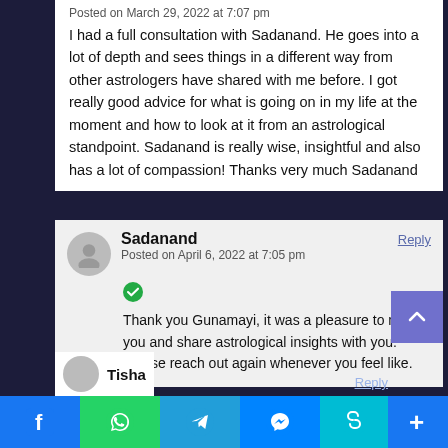Posted on March 29, 2022 at 7:07 pm
I had a full consultation with Sadanand. He goes into a lot of depth and sees things in a different way from other astrologers have shared with me before. I got really good advice for what is going on in my life at the moment and how to look at it from an astrological standpoint. Sadanand is really wise, insightful and also has a lot of compassion! Thanks very much Sadanand
Sadanand
Reply
Posted on April 6, 2022 at 7:05 pm
Thank you Gunamayi, it was a pleasure to meet you and share astrological insights with you. Please reach out again whenever you feel like.
Tisha
Reply